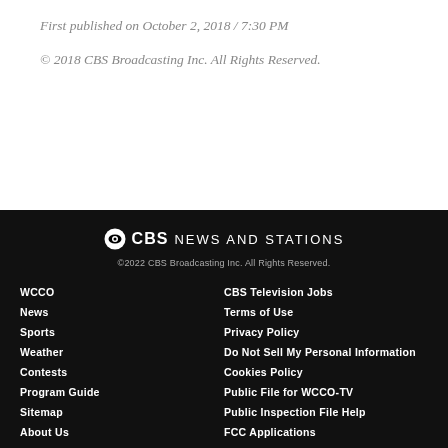First published on October 2, 2018 / 7:30 PM
© 2018 CBS Broadcasting Inc. All Rights Reserved.
[Figure (logo): CBS News and Stations logo with CBS eye icon]
©2022 CBS Broadcasting Inc. All Rights Reserved.
WCCO
News
Sports
Weather
Contests
Program Guide
Sitemap
About Us
Advertise
CBS Television Jobs
Terms of Use
Privacy Policy
Do Not Sell My Personal Information
Cookies Policy
Public File for WCCO-TV
Public Inspection File Help
FCC Applications